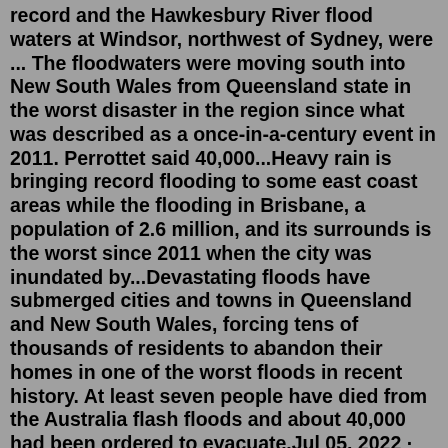record and the Hawkesbury River flood waters at Windsor, northwest of Sydney, were ... The floodwaters were moving south into New South Wales from Queensland state in the worst disaster in the region since what was described as a once-in-a-century event in 2011. Perrottet said 40,000...Heavy rain is bringing record flooding to some east coast areas while the flooding in Brisbane, a population of 2.6 million, and its surrounds is the worst since 2011 when the city was inundated by...Devastating floods have submerged cities and towns in Queensland and New South Wales, forcing tens of thousands of residents to abandon their homes in one of the worst floods in recent history. At least seven people have died from the Australia flash floods and about 40,000 had been ordered to evacuate.Jul 05, 2022 · Australia's July 2022 floods are wreaking havoc. July 2022 has been a rough one for east coast Australian residents. According to Reuters, the floods are now being labeled a natural disaster, which helps those in need receive aid. Although the rain is supposed to